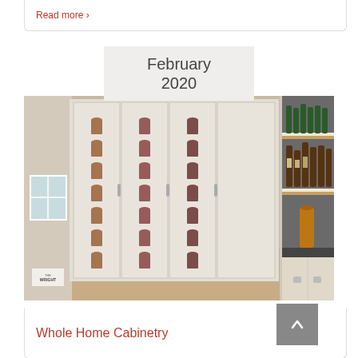Read more ›
February 2020
[Figure (photo): Interior photo of a custom wine cellar with glass-fronted cabinet doors displaying rows of wine bottles, and a bar area with liquor bottles on lit shelves and a dark countertop.]
Whole Home Cabinetry